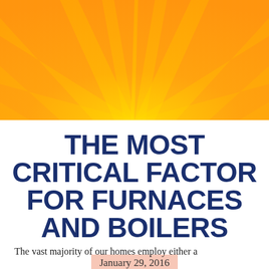[Figure (illustration): Sunburst graphic with radiating rays in orange and yellow gradient at the top of the page]
THE MOST CRITICAL FACTOR FOR FURNACES AND BOILERS
January 29, 2016
The vast majority of our homes employ either a